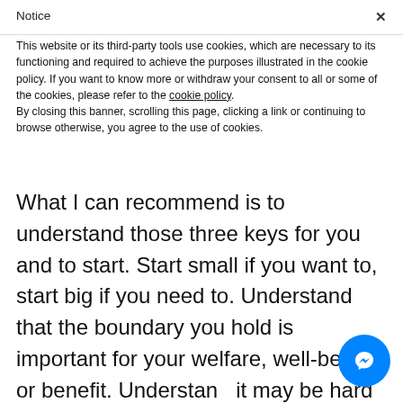Notice
This website or its third-party tools use cookies, which are necessary to its functioning and required to achieve the purposes illustrated in the cookie policy. If you want to know more or withdraw your consent to all or some of the cookies, please refer to the cookie policy.
By closing this banner, scrolling this page, clicking a link or continuing to browse otherwise, you agree to the use of cookies.
What I can recommend is to understand those three keys for you and to start. Start small if you want to, start big if you need to. Understand that the boundary you hold is important for your welfare, well-being, or benefit. Understand it may be hard and you may face push back, but in the end it will be worth it.